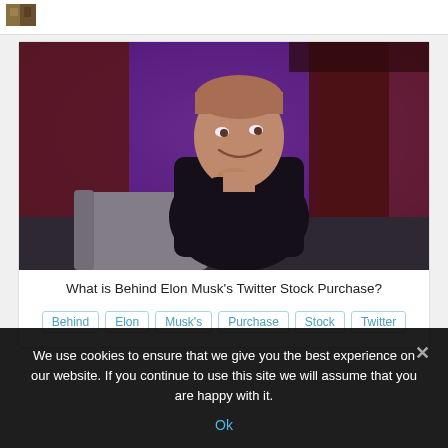[Figure (photo): Small thumbnail image of a scene, used as a preview/avatar in top bar]
[Figure (photo): Photo of Elon Musk sitting in a chair on a stage with purple and dark red background lighting, wearing a black outfit, smiling and resting chin on hand]
What is Behind Elon Musk's Twitter Stock Purchase?
Behind
Elon
Musk's
Purchase
Stock
Twitter
We use cookies to ensure that we give you the best experience on our website. If you continue to use this site we will assume that you are happy with it.
Ok